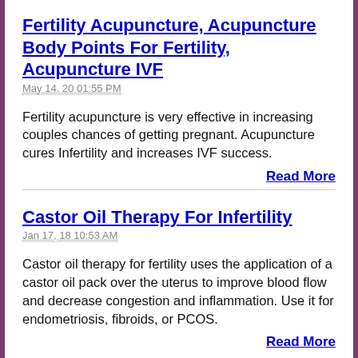Fertility Acupuncture, Acupuncture Body Points For Fertility, Acupuncture IVF
May 14, 20 01:55 PM
Fertility acupuncture is very effective in increasing couples chances of getting pregnant. Acupuncture cures Infertility and increases IVF success.
Read More
Castor Oil Therapy For Infertility
Jan 17, 18 10:53 AM
Castor oil therapy for fertility uses the application of a castor oil pack over the uterus to improve blood flow and decrease congestion and inflammation. Use it for endometriosis, fibroids, or PCOS.
Read More